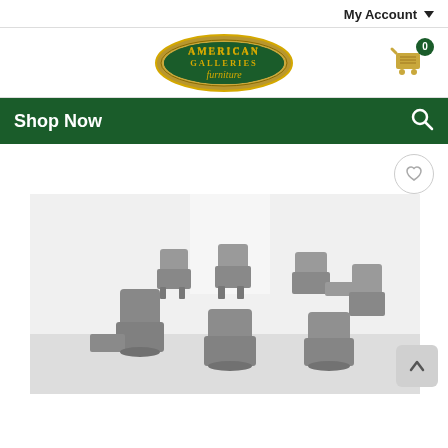My Account
[Figure (logo): American Galleries Furniture oval logo in gold and green]
[Figure (other): Shopping cart icon with badge showing 0 items]
Shop Now
[Figure (photo): Multiple gray upholstered recliner chairs in various positions in a bright white showroom setting]